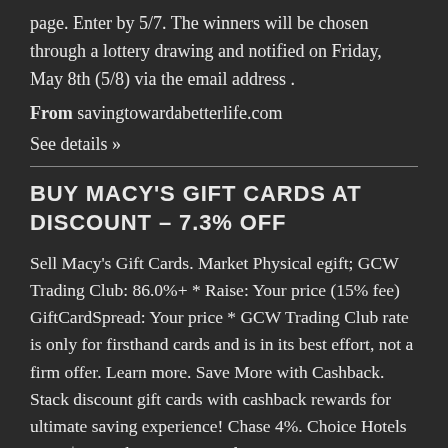page. Enter by 5/7. The winners will be chosen through a lottery drawing and notified on Friday, May 8th (5/8) via the email address .
From savingtowardabetterlife.com
See details »
BUY MACY'S GIFT CARDS AT DISCOUNT – 7.3% OFF
Sell Macy's Gift Cards. Market Physical egift; GCW Trading Club: 86.0%+ * Raise: Your price (15% fee) GiftCardSpread: Your price * GCW Trading Club rate is only for firsthand cards and is in its best effort, not a firm offer. Learn more. Save More with Cashback. Stack discount gift cards with cashback rewards for ultimate saving experience! Chase 4%. Choice Hotels 5 pts/$ Amtrak Guest Rewards .
From giftcardwiki.com